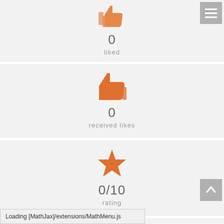[Figure (infographic): Thumbs-up icon (liked) with count 0 and label 'liked']
[Figure (infographic): Thumbs-up icon (received likes) with count 0 and label 'received likes']
[Figure (infographic): Star icon with score '0/10' and label 'rating']
[Figure (infographic): Orange rounded square with pencil/edit icon (partially visible)]
Loading [MathJax]/extensions/MathMenu.js